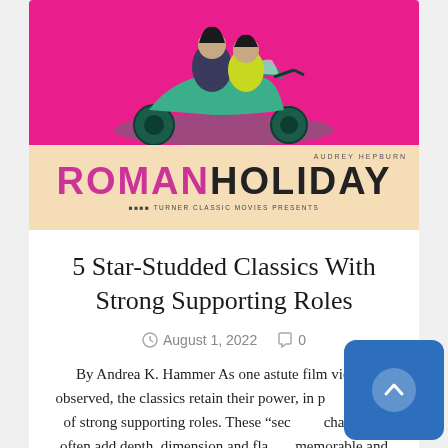[Figure (photo): Movie poster for Roman Holiday showing two people on a green Vespa scooter against a magenta/pink background, with 'AUDREY HEPBURN' credit at top right, 'ROMANHOLIDAY' title in large text, and 'TURNER CLASSIC MOVIES presents' subtitle]
5 Star-Studded Classics With Strong Supporting Roles
August 1, 2022   0
By Andrea K. Hammer As one astute film viewer observed, the classics retain their power, in part because of strong supporting roles. These "second" characters often add depth, dimension and flavor, memorable and